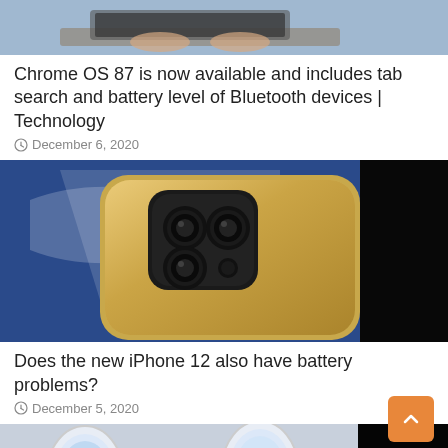[Figure (photo): Partial photo of person using laptop, cut off at top]
Chrome OS 87 is now available and includes tab search and battery level of Bluetooth devices | Technology
December 6, 2020
[Figure (photo): Gold iPhone 12 Pro showing back with triple camera system, placed against blue background with partial logo]
Does the new iPhone 12 also have battery problems?
December 5, 2020
[Figure (photo): Laptop on airplane tray table near window, partially visible]